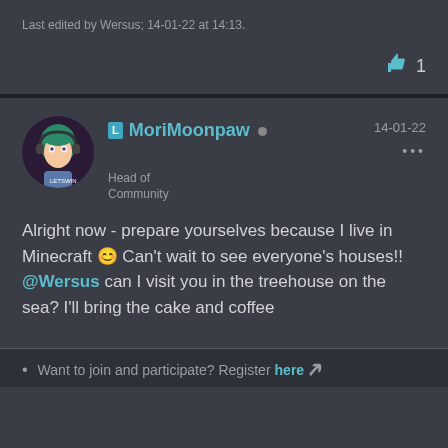Last edited by Wersus; 14-01-22 at 14:13.
👍 1
MoriMoonpaw • 14-01-22 Head of Community
Alright now - prepare yourselves because I live in Minecraft 😊 Can't wait to see everyone's houses!! @Wersus can I visit you in the treehouse on the sea? I'll bring the cake and coffee
Want to join and participate? Register here 🡵